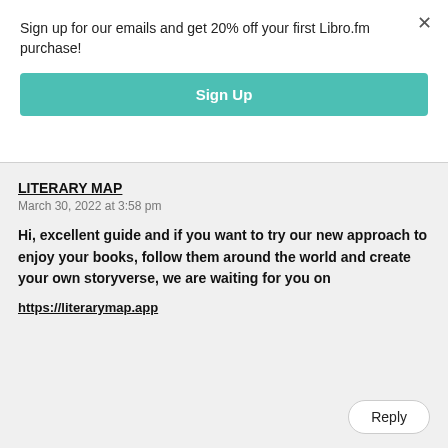Sign up for our emails and get 20% off your first Libro.fm purchase!
Sign Up
LITERARY MAP
March 30, 2022 at 3:58 pm
Hi, excellent guide and if you want to try our new approach to enjoy your books, follow them around the world and create your own storyverse, we are waiting for you on
https://literarymap.app
Reply